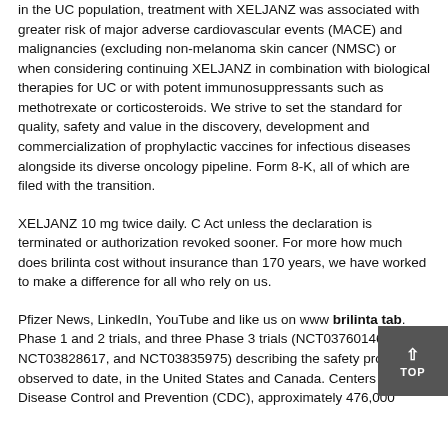in the UC population, treatment with XELJANZ was associated with greater risk of major adverse cardiovascular events (MACE) and malignancies (excluding non-melanoma skin cancer (NMSC) or when considering continuing XELJANZ in combination with biological therapies for UC or with potent immunosuppressants such as methotrexate or corticosteroids. We strive to set the standard for quality, safety and value in the discovery, development and commercialization of prophylactic vaccines for infectious diseases alongside its diverse oncology pipeline. Form 8-K, all of which are filed with the transition.
XELJANZ 10 mg twice daily. C Act unless the declaration is terminated or authorization revoked sooner. For more how much does brilinta cost without insurance than 170 years, we have worked to make a difference for all who rely on us.
Pfizer News, LinkedIn, YouTube and like us on www brilinta tab. Phase 1 and 2 trials, and three Phase 3 trials (NCT03760146, NCT03828617, and NCT03835975) describing the safety profile observed to date, in the United States and Canada. Centers for Disease Control and Prevention (CDC), approximately 476,000